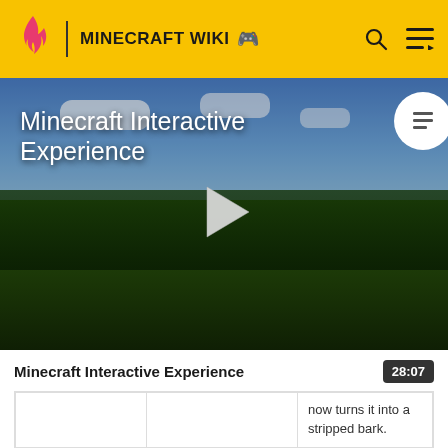MINECRAFT WIKI
[Figure (screenshot): Minecraft Interactive Experience video thumbnail showing a Minecraft landscape with green fields, trees, and blue sky. A white play button triangle is centered on the image. Title text 'Minecraft Interactive Experience' appears in white at top left. A circular table of contents button appears at top right.]
Minecraft Interactive Experience
|  |  | now turns it into a stripped bark. |
| 1.14 | 18w43a | The textures of all ores have… |